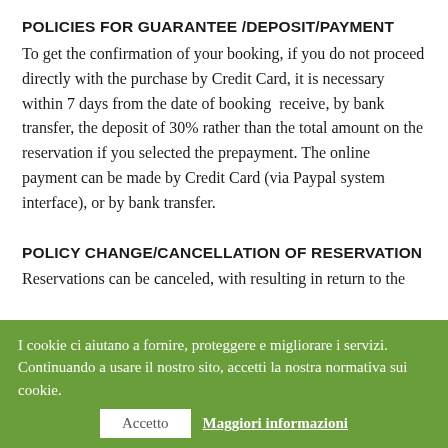POLICIES FOR GUARANTEE /DEPOSIT/PAYMENT
To get the confirmation of your booking, if you do not proceed directly with the purchase by Credit Card, it is necessary within 7 days from the date of booking receive, by bank transfer, the deposit of 30% rather than the total amount on the reservation if you selected the prepayment. The online payment can be made by Credit Card (via Paypal system interface), or by bank transfer.
POLICY CHANGE/CANCELLATION OF RESERVATION
Reservations can be canceled, with resulting in return to the
I cookie ci aiutano a fornire, proteggere e migliorare i servizi. Continuando a usare il nostro sito, accetti la nostra normativa sui cookie.